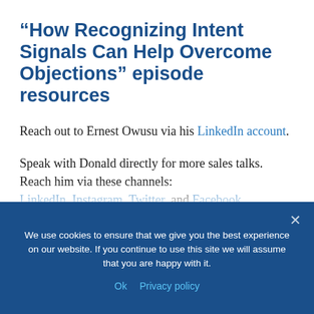“How Recognizing Intent Signals Can Help Overcome Objections” episode resources
Reach out to Ernest Owusu via his LinkedIn account.
Speak with Donald directly for more sales talks. Reach him via these channels: LinkedIn, Instagram, Twitter, and Facebook
We use cookies to ensure that we give you the best experience on our website. If you continue to use this site we will assume that you are happy with it. Ok  Privacy policy